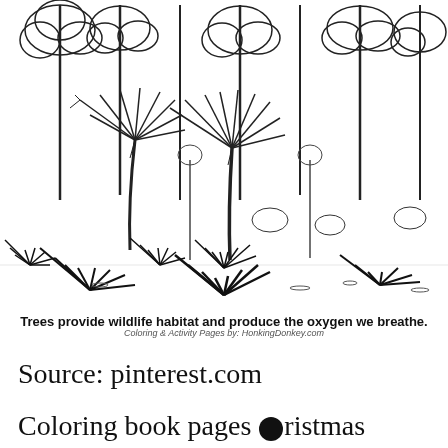[Figure (illustration): Black and white line drawing coloring page illustration of a forest scene with tall trees, palm-like plants, and low ground-level foliage. Multiple tree species visible including tall pines and broad-leafed trees. Suitable for coloring.]
Trees provide wildlife habitat and produce the oxygen we breathe.
Coloring & Activity Pages by: HonkingDonkey.com
Source: pinterest.com
Coloring book pages ⓧristmas treeThis